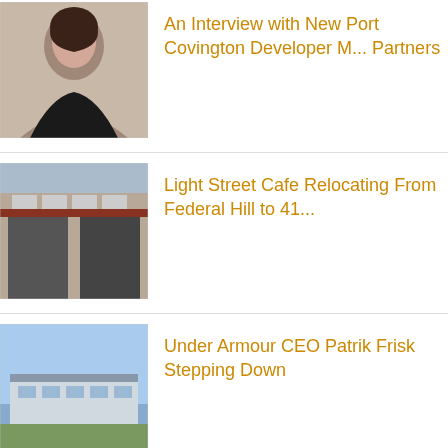[Figure (photo): Portrait photo of a woman with dark hair]
An Interview with New Port Covington Developer M... Partners
[Figure (photo): Exterior photo of a brick building storefront]
Light Street Cafe Relocating From Federal Hill to 41...
[Figure (photo): Aerial/outdoor photo of a sports field or Under Armour facility]
Under Armour CEO Patrik Frisk Stepping Down
[Figure (photo): Exterior photo of a Shoppers Food store]
Giant Food Taking Over the Shoppers Space at South...
ABOUT THE AUTHOR: NEWS RELEA...
[Figure (logo): SOBO logo in orange bold letters]
News releases from various sources around So...